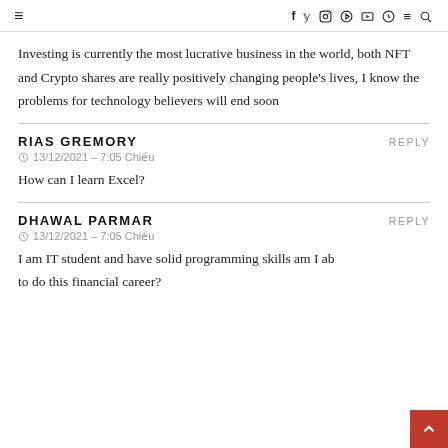≡  f  y  ⊙  ⊕  ▶  ⊙  ≡  🔍
Investing is currently the most lucrative business in the world, both NFT and Crypto shares are really positively changing people's lives, I know the problems for technology believers will end soon
RIAS GREMORY   REPLY
⊙  13/12/2021 - 7:05 Chiều
How can I learn Excel?
DHAWAL PARMAR   REPLY
⊙  13/12/2021 - 7:05 Chiều
I am IT student and have solid programming skills am I ab to do this financial career?